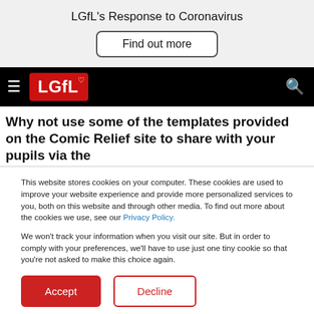LGfL's Response to Coronavirus
Find out more
[Figure (logo): LGfL logo on black navigation bar with hamburger menu and search icon]
Why not use some of the templates provided on the Comic Relief site to share with your pupils via the
This website stores cookies on your computer. These cookies are used to improve your website experience and provide more personalized services to you, both on this website and through other media. To find out more about the cookies we use, see our Privacy Policy.
We won't track your information when you visit our site. But in order to comply with your preferences, we'll have to use just one tiny cookie so that you're not asked to make this choice again.
Accept
Decline